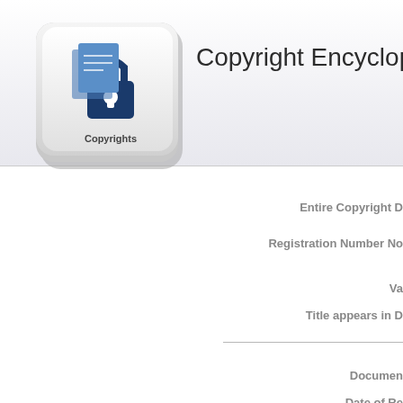[Figure (logo): Copyright Encyclopedia logo: a keyboard key with a padlock icon and the word 'Copyrights']
Copyright Encyclopedia
Entire Copyright D
Registration Number No
Va
Title appears in D
Documen
Date of Re
Entire Copyright D